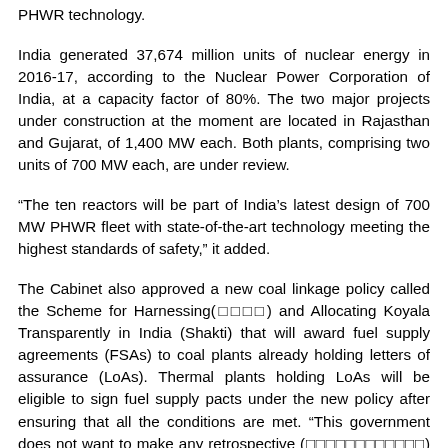PHWR technology.
India generated 37,674 million units of nuclear energy in 2016-17, according to the Nuclear Power Corporation of India, at a capacity factor of 80%. The two major projects under construction at the moment are located in Rajasthan and Gujarat, of 1,400 MW each. Both plants, comprising two units of 700 MW each, are under review.
“The ten reactors will be part of India’s latest design of 700 MW PHWR fleet with state-of-the-art technology meeting the highest standards of safety,” it added.
The Cabinet also approved a new coal linkage policy called the Scheme for Harnessing(    ) and Allocating Koyala Transparently in India (Shakti) that will award fuel supply agreements (FSAs) to coal plants already holding letters of assurance (LoAs). Thermal plants holding LoAs will be eligible to sign fuel supply pacts under the new policy after ensuring that all the conditions are met. “This government does not want to make any retrospective (            ) changes and so we have decided to honour the letters of assurance given in the past,” Mr. Goyal said. “The last...